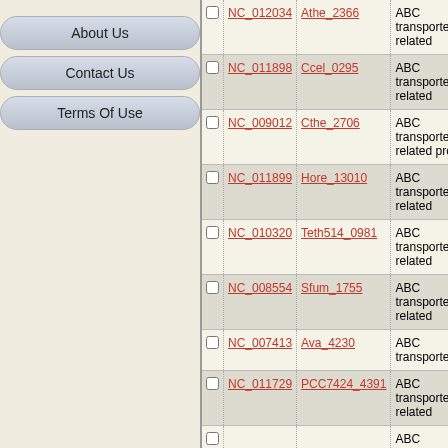About Us
Contact Us
Terms Of Use
|  | Accession | Gene | Description |
| --- | --- | --- | --- |
| ☐ | NC_012034 | Athe_2366 | ABC transporter related |
| ☐ | NC_011898 | Ccel_0295 | ABC transporter related |
| ☐ | NC_009012 | Cthe_2706 | ABC transporter related protein |
| ☐ | NC_011899 | Hore_13010 | ABC transporter related |
| ☐ | NC_010320 | Teth514_0981 | ABC transporter related |
| ☐ | NC_008554 | Sfum_1755 | ABC transporter related |
| ☐ | NC_007413 | Ava_4230 | ABC transporter like |
| ☐ | NC_011729 | PCC7424_4391 | ABC transporter related |
| ☐ |  |  | ABC |